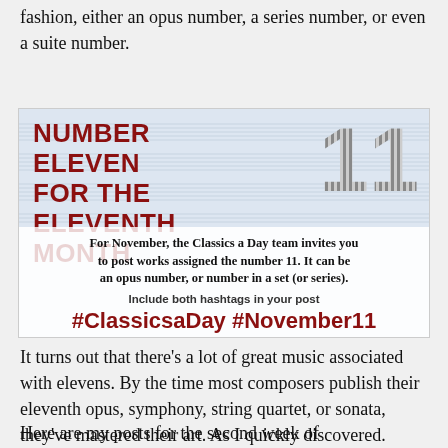fashion, either an opus number, a series number, or even a suite number.
[Figure (infographic): Classics a Day promotional banner for November theme 'Number Eleven for the Eleventh Month'. Red bold text on sheet-music background, with large bold '11' numeral on right. Body text invites posting works assigned number 11. Includes hashtags #ClassicsaDay #November11.]
It turns out that there's a lot of great music associated with elevens. By the time most composers publish their eleventh opus, symphony, string quartet, or sonata, they've mastered their art. As I quickly discovered.
Here are my posts for the second week of #ClassicsaDay